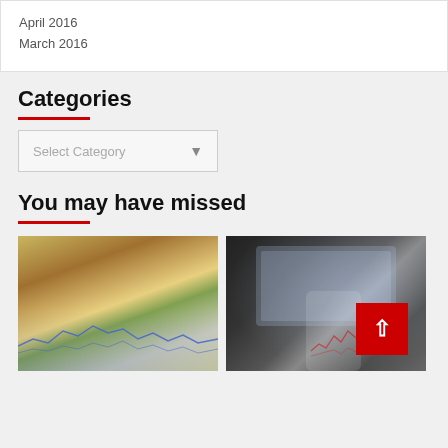April 2016
March 2016
Categories
Select Category
You may have missed
[Figure (photo): Glasses resting on a financial newspaper/chart with Euro banknote, blue line chart visible]
[Figure (photo): Person holding a smartphone with stock chart app, laptop with charts in background]